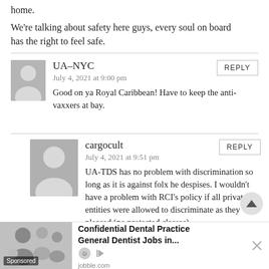home.
We're talking about safety here guys, every soul on board has the right to feel safe.
UA-NYC
July 4, 2021 at 9:00 pm
Good on ya Royal Caribbean! Have to keep the anti-vaxxers at bay.
cargocult
July 4, 2021 at 9:51 pm
UA-TDS has no problem with discrimination so long as it is against folx he despises. I wouldn't have a problem with RCI's policy if all private entities were allowed to discriminate as they pleased (no protected classes).
[Figure (infographic): Advertisement banner for Confidential Dental Practice General Dentist Jobs on jobble.com, with sponsored label and close button]